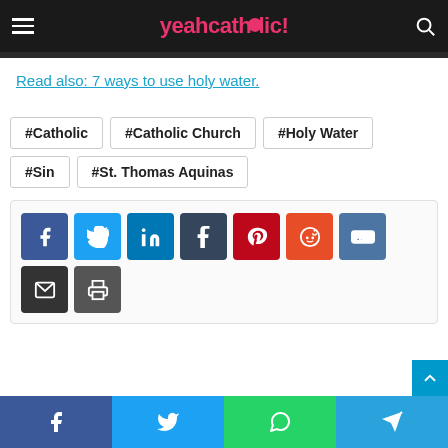yeahcatholic!
Read also: 7 ways to use holy water.
#Catholic
#Catholic Church
#Holy Water
#Sin
#St. Thomas Aquinas
[Figure (infographic): Social share buttons: Facebook, Twitter, LinkedIn, Tumblr, Pinterest, Reddit, VK, Email, Print]
Facebook, Twitter, WhatsApp, Telegram share bar